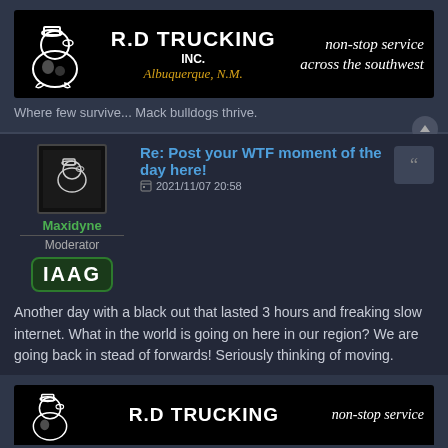[Figure (logo): R.D Trucking Inc. banner ad showing a cartoon duck mascot, company name 'R.D TRUCKING INC. Albuquerque, N.M.' and tagline 'non-stop service across the southwest' on black background]
Where few survive... Mack bulldogs thrive.
[Figure (photo): User avatar for Maxidyne showing small duck logo on dark background]
Maxidyne
Moderator
IAAG
Re: Post your WTF moment of the day here!
2021/11/07 20:58
Another day with a black out that lasted 3 hours and freaking slow internet. What in the world is going on here in our region? We are going back in stead of forwards! Seriously thinking of moving.
[Figure (logo): Partial R.D Trucking Inc. banner ad (cropped) at bottom of page]